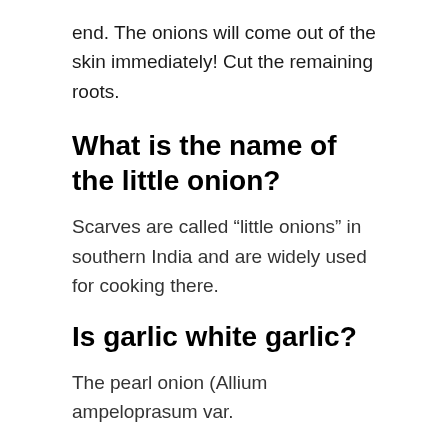end. The onions will come out of the skin immediately! Cut the remaining roots.
What is the name of the little onion?
Scarves are called “little onions” in southern India and are widely used for cooking there.
Is garlic white garlic?
The pearl onion (Allium ampeloprasum var.